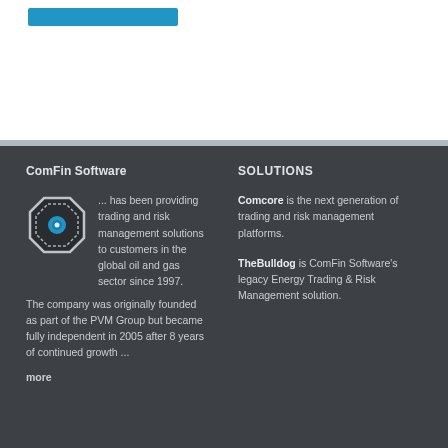[Figure (other): Blue bar/button element at top of page on white background]
ComFin Software
SOLUTIONS
[Figure (logo): ComFin Software logo: octagonal shape with blue circle center]
... has been providing trading and risk management solutions to customers in the global oil and gas sector since 1997.
The company was originally founded as part of the PVM Group but became fully independent in 2005 after 8 years of continued growth ...
more
Comcore is the next generation of trading and risk management platforms.
TheBulldog is ComFin Software's legacy Energy Trading & Risk Management solution.